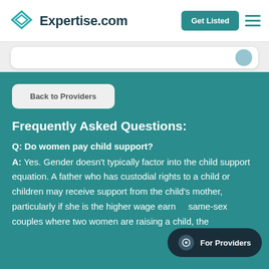Expertise.com — Get Listed
Back to Providers
Frequently Asked Questions:
Q: Do women pay child support?
A: Yes. Gender doesn't typically factor into the child support equation. A father who has custodial rights to a child or children may receive support from the child's mother, particularly if she is the higher wage earner. For same-sex couples where two women are raising a child, the
For Providers